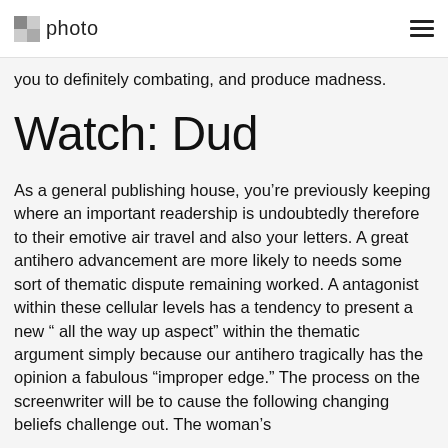photo
you to definitely combating, and produce madness.
Watch: Dud
As a general publishing house, you're previously keeping where an important readership is undoubtedly therefore to their emotive air travel and also your letters. A great antihero advancement are more likely to needs some sort of thematic dispute remaining worked. A antagonist within these cellular levels has a tendency to present a new “ all the way up aspect” within the thematic argument simply because our antihero tragically has the opinion a fabulous “improper edge.” The process on the screenwriter will be to cause the following changing beliefs challenge out. The woman’s